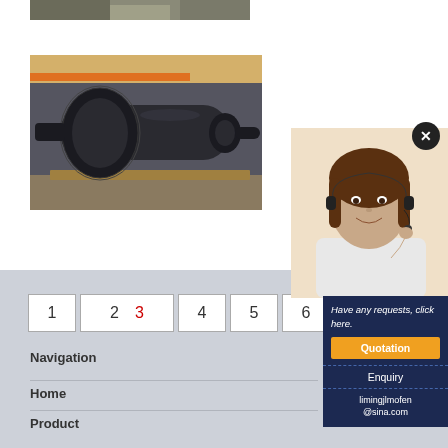[Figure (photo): Partial top view of industrial machinery/mining equipment at top of page (cropped)]
[Figure (photo): Large industrial ball mill with gear drive, shown in a factory/warehouse setting. Dark cylindrical grinding mill with large ring gear visible.]
1  2 3  4  5  6
Navigation
Home
Product
[Figure (photo): Customer service woman with headset smiling]
Have any requests, click here.
Quotation
Enquiry
limingjlmofen@sina.com